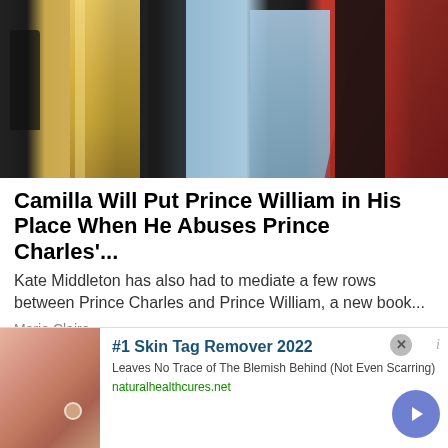[Figure (photo): Four people standing on a red carpet at a formal event. A woman in a gold gown, a man in a tuxedo, a woman in a light blue beaded gown, and a man in a dark suit. Red staircase visible on right.]
Camilla Will Put Prince William in His Place When He Abuses Prince Charles'...
Kate Middleton has also had to mediate a few rows between Prince Charles and Prince William, a new book...
Marie Claire
[Figure (photo): Partial view of a landscape with blue sky and rocky terrain, partially obscured by advertisement overlay.]
[Figure (infographic): Advertisement: #1 Skin Tag Remover 2022. Image of skin with skin tag. Text: Leaves No Trace of The Blemish Behind (Not Even Scarring). URL: naturalhealthcures.net]